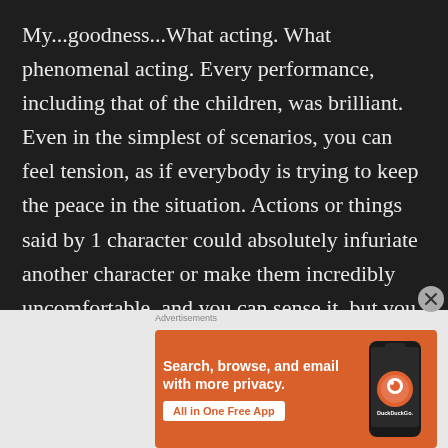My...goodness...What acting.  What phenomenal acting.  Every performance, including that of the children, was brilliant.  Even in the simplest of scenarios, you can feel tension, as if everybody is trying to keep the peace in the situation.  Actions or things said by 1 character could absolutely infuriate another character or make them incredibly uncomfortable, and you can sense it, but you also know that everybody
[Figure (infographic): DuckDuckGo advertisement banner with orange background showing 'Search, browse, and email with more privacy.' headline, 'All in One Free App' button, and a phone mockup with DuckDuckGo logo]